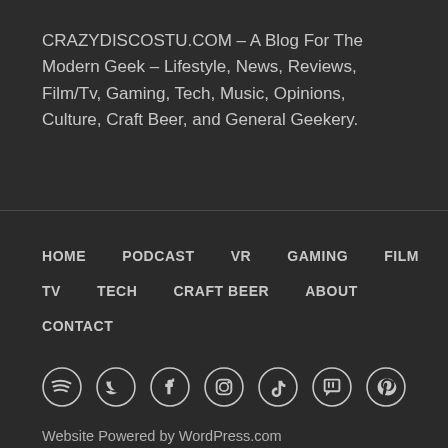CRAZYDISCOSTU.COM – A Blog For The Modern Geek – Lifestyle, News, Reviews, Film/Tv, Gaming, Tech, Music, Opinions, Culture, Craft Beer, and General Geekery.
HOME
PODCAST
VR
GAMING
FILM
TV
TECH
CRAFT BEER
ABOUT
CONTACT
[Figure (infographic): Social media icons: Spotify, Twitter, Facebook, Instagram, TikTok, Twitch, Pinterest]
Website Powered by WordPress.com